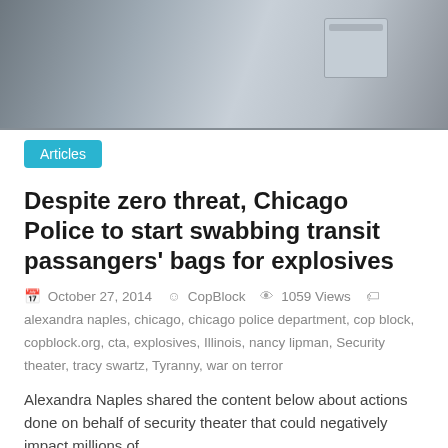[Figure (photo): Top portion of a photo showing a metal can or container on a surface, partially cropped at the top of the page.]
Articles
Despite zero threat, Chicago Police to start swabbing transit passangers' bags for explosives
October 27, 2014   CopBlock   1059 Views   alexandra naples, chicago, chicago police department, cop block, copblock.org, cta, explosives, Illinois, nancy lipman, Security theater, tracy swartz, Tyranny, war on terror
Alexandra Naples shared the content below about actions done on behalf of security theater that could negatively impact millions of
Read more